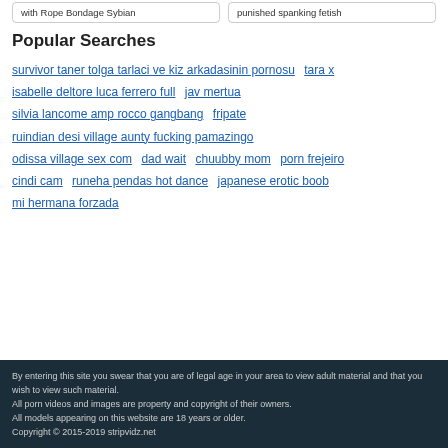with Rope Bondage Sybian
punished spanking fetish
Popular Searches
survivor taner tolga tarlaci ve kiz arkadasinin pornosu
tara x
isabelle deltore luca ferrero full
jav mertua
silvia lancome amp rocco gangbang
fripate
ruindian desi village aunty fucking pamazingo
odissa village sex com
dad wait
chuubby mom
porn frejeiro
cindi cam
runeha pendas hot dance
japanese erotic boob
mi hermana forzada
By entering this site you swear that you are of legal age in your area to view adult material and that you wish to view such material. All porn videos and images are property and copyright of their owners. All models appearing on this website are 18 years or older. Copyright © 2015-2019 stripvidz.net